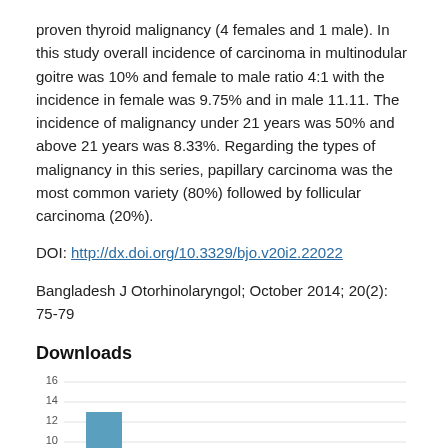proven thyroid malignancy (4 females and 1 male). In this study overall incidence of carcinoma in multinodular goitre was 10% and female to male ratio 4:1 with the incidence in female was 9.75% and in male 11.11. The incidence of malignancy under 21 years was 50% and above 21 years was 8.33%. Regarding the types of malignancy in this series, papillary carcinoma was the most common variety (80%) followed by follicular carcinoma (20%).
DOI: http://dx.doi.org/10.3329/bjo.v20i2.22022
Bangladesh J Otorhinolaryngol; October 2014; 20(2): 75-79
Downloads
[Figure (bar-chart): Downloads]